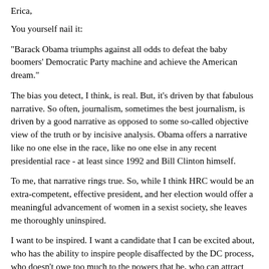Erica,
You yourself nail it:
"Barack Obama triumphs against all odds to defeat the baby boomers' Democratic Party machine and achieve the American dream."
The bias you detect, I think, is real. But, it's driven by that fabulous narrative. So often, journalism, sometimes the best journalism, is driven by a good narrative as opposed to some so-called objective view of the truth or by incisive analysis. Obama offers a narrative like no one else in the race, like no one else in any recent presidential race - at least since 1992 and Bill Clinton himself.
To me, that narrative rings true. So, while I think HRC would be an extra-competent, effective president, and her election would offer a meaningful advancement of women in a sexist society, she leaves me thoroughly uninspired.
I want to be inspired. I want a candidate that I can be excited about, who has the ability to inspire people disaffected by the DC process, who doesn't owe too much to the powers that be, who can attract throngs of young people to the polls in November, who offers a break from the past, who can signal and inspire a profound shift in the way our entire history has been driven by the